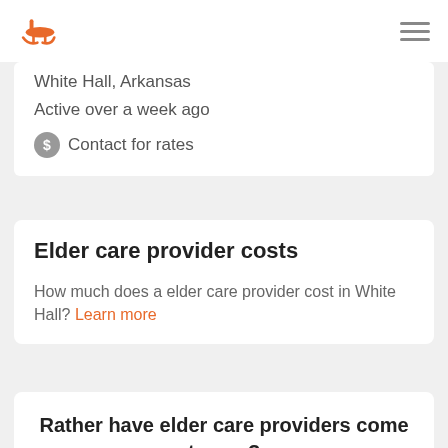Logo and navigation menu
White Hall, Arkansas
Active over a week ago
Contact for rates
Elder care provider costs
How much does a elder care provider cost in White Hall? Learn more
1 2
Rather have elder care providers come to you?